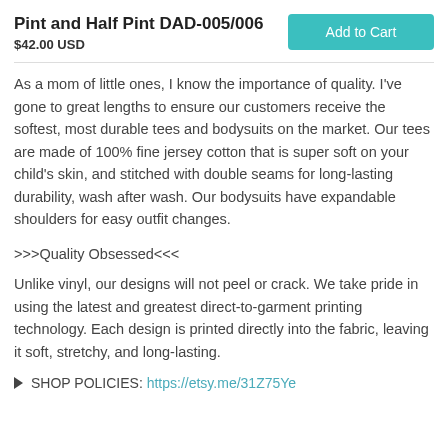Pint and Half Pint DAD-005/006
$42.00 USD
[Figure (other): Teal 'Add to Cart' button]
As a mom of little ones, I know the importance of quality. I've gone to great lengths to ensure our customers receive the softest, most durable tees and bodysuits on the market. Our tees are made of 100% fine jersey cotton that is super soft on your child's skin, and stitched with double seams for long-lasting durability, wash after wash. Our bodysuits have expandable shoulders for easy outfit changes.
>>>Quality Obsessed<<<
Unlike vinyl, our designs will not peel or crack. We take pride in using the latest and greatest direct-to-garment printing technology. Each design is printed directly into the fabric, leaving it soft, stretchy, and long-lasting.
► SHOP POLICIES: https://etsy.me/31Z75Ye